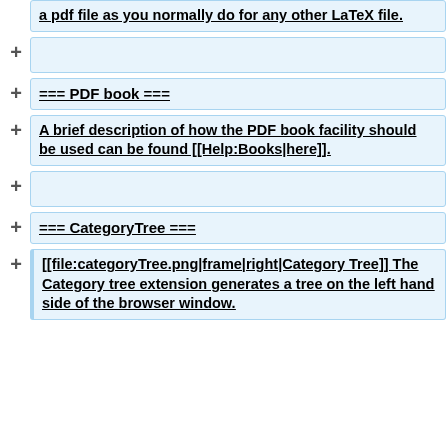a pdf file as you normally do for any other LaTeX file.
=== PDF book ===
A brief description of how the PDF book facility should be used can be found [[Help:Books|here]].
=== CategoryTree ===
[[file:categoryTree.png|frame|right|Category Tree]] The Category tree extension generates a tree on the left hand side of the browser window.